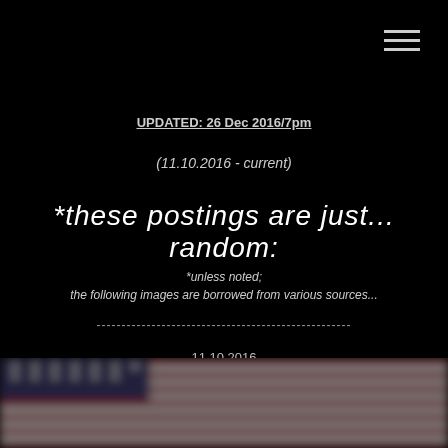hamburger menu icon
UPDATED: 26 Dec 2016/7pm
(11.10.2016 - current)
*these postings are just... random:
*unless noted;
the following images are borrowed from various sources...
---------------------------------------------------
11.10.2016
[Figure (photo): Blurred photo of an American flag with red, white and blue colors, partial view at the bottom of the page]